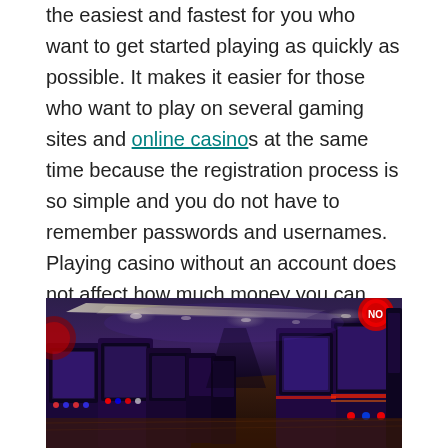the easiest and fastest for you who want to get started playing as quickly as possible. It makes it easier for those who want to play on several gaming sites and online casinos at the same time because the registration process is so simple and you do not have to remember passwords and usernames. Playing casino without an account does not affect how much money you can play for. As long as there is a balance in your bank account, things are going well.
[Figure (photo): Interior of a casino showing rows of slot machines with colorful LED lighting, purple ambient ceiling lights, and a long corridor of gaming machines]